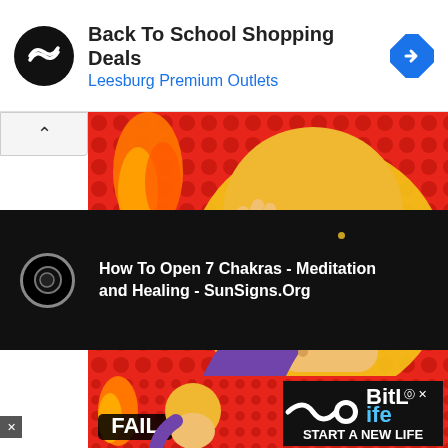[Figure (screenshot): Top ad banner: Back To School Shopping Deals - Leesburg Premium Outlets with circular black logo and blue diamond arrow icon]
[Figure (illustration): FAIL meme image: cartoon blonde woman doing facepalm gesture with purple sleeve, red dotted background, FAIL text in white with black outline]
-ADVERTISEMENT-
[Figure (screenshot): Black video bar with circular play icon and golden dot, showing title: How To Open 7 Chakras - Meditation and Healing - SunSigns.Org]
[Figure (screenshot): Bottom ad banner: FAIL meme with BitLife logo and START A NEW LIFE text]